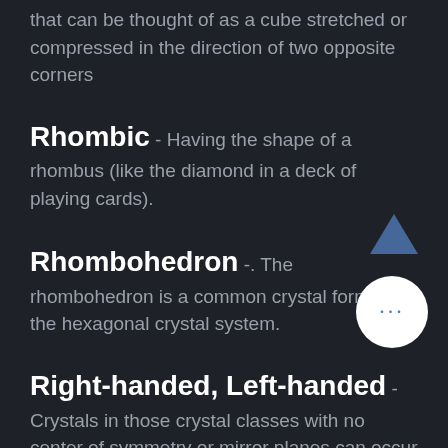that can be thought of as a cube stretched or compressed in the direction of two opposite corners
Rhombic - Having the shape of a rhombus (like the diamond in a deck of playing cards).
Rhombohedron -. The rhombohedron is a common crystal form in the hexagonal crystal system.
Right-handed, Left-handed - Crystals in those crystal classes with no center of symmetry or mirror planes can occur in right-handed or left-handed variations. These variations are identical except that they are mirror images of one another in the same way that your